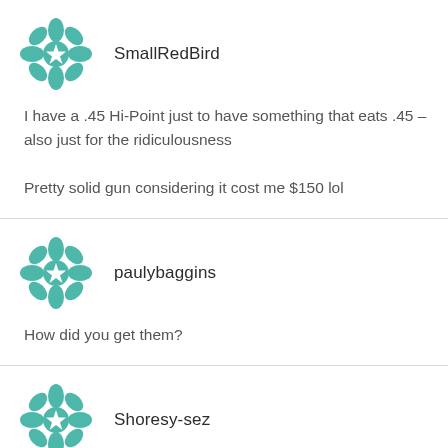[Figure (logo): Teal geometric snowflake/mandala avatar icon for user SmallRedBird]
SmallRedBird
I have a .45 Hi-Point just to have something that eats .45 – also just for the ridiculousness

Pretty solid gun considering it cost me $150 lol
[Figure (logo): Teal geometric snowflake/mandala avatar icon for user paulybaggins]
paulybaggins
How did you get them?
[Figure (logo): Teal geometric snowflake/mandala avatar icon for user Shoresy-sez]
Shoresy-sez
Golden rule. No exceptions.